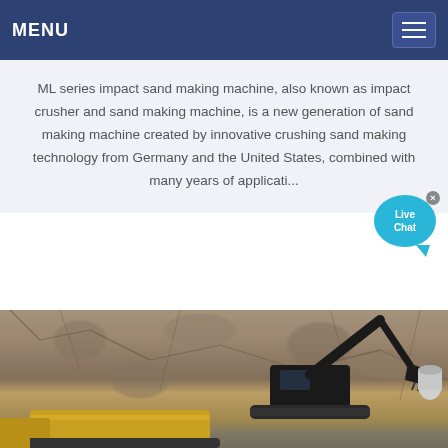MENU
ML series impact sand making machine, also known as impact crusher and sand making machine, is a new generation of sand making machine created by innovative crushing sand making technology from Germany and the United States, combined with many years of application...
[Figure (photo): Excavator/heavy machinery operating at a rock quarry or mining site. A large black excavator arm with bucket is visible against a rocky cliff face background, with yellow construction equipment in the foreground.]